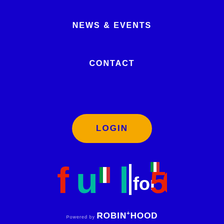NEWS & EVENTS
CONTACT
[Figure (other): LOGIN button — yellow rounded rectangle with dark blue bold text 'LOGIN']
[Figure (logo): fuel for 50 logo — colorful text logo with 'fuel' in red/teal/blue/yellow, vertical bar, 'for' in white, '50' in red/orange; on blue background]
Powered by ROBIN+HOOD